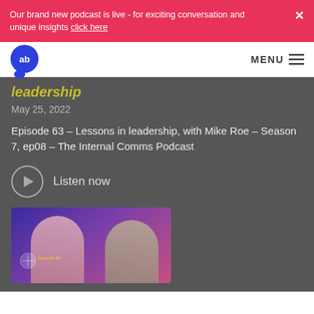Our brand new podcast is live - for exciting conversation and unique insights click here
ab MENU
leadership
May 25, 2022
Episode 63 – Lessons in leadership, with Mike Roe – Season 7, ep08 – The Internal Comms Podcast
Listen now
[Figure (photo): Thumbnail image for Episode 62 of The Internal Comms Podcast showing two people (a woman with blonde hair and a man with glasses) against a purple/pink gradient background, with 'Episode 62' badge overlay]